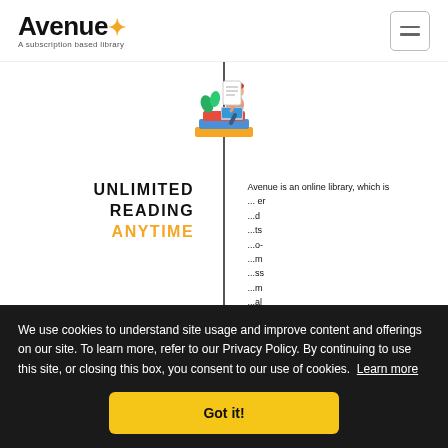[Figure (logo): Avenue logo with orange star and tagline 'A subscription based library']
[Figure (illustration): Illustration of person sitting on books reading, with stacked colorful books]
UNLIMITED READING ANYTIME
Avenue is an online library, which is ...
We use cookies to understand site usage and improve content and offerings on our site. To learn more, refer to our Privacy Policy. By continuing to use this site, or closing this box, you consent to our use of cookies. Learn more
Got it!